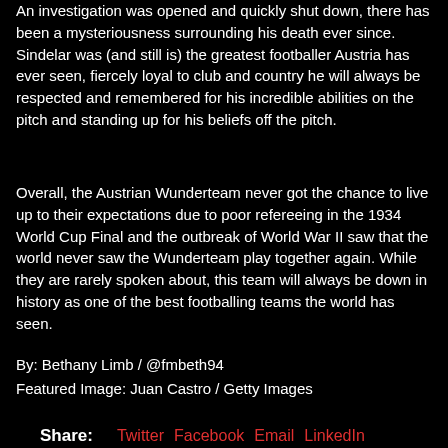An investigation was opened and quickly shut down, there has been a mysteriousness surrounding his death ever since. Sindelar was (and still is) the greatest footballer Austria has ever seen, fiercely loyal to club and country he will always be respected and remembered for his incredible abilities on the pitch and standing up for his beliefs off the pitch.
Overall, the Austrian Wunderteam never got the chance to live up to their expectations due to poor refereeing in the 1934 World Cup Final and the outbreak of World War II saw that the world never saw the Wunderteam play together again. While they are rarely spoken about, this team will always be down in history as one of the best footballing teams the world has seen.
By: Bethany Limb / @fmbeth94
Featured Image: Juan Castro / Getty Images
Share:  Twitter  Facebook  Email  LinkedIn